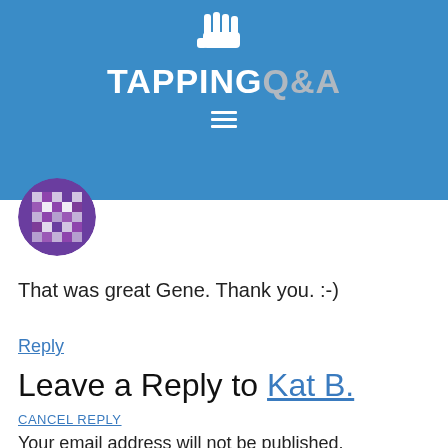TAPPING Q&A
[Figure (logo): TappingQ&A website logo with hand icon on blue background header bar]
[Figure (photo): User avatar - circular profile image with purple pixelated pattern]
That was great Gene. Thank you. :-)
Reply
Leave a Reply to Kat B.
CANCEL REPLY
Your email address will not be published.